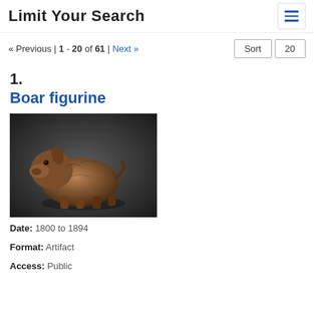Limit Your Search
« Previous | 1 - 20 of 61 | Next »
Sort  20
1.
Boar figurine
[Figure (photo): Photograph of a boar figurine sculpture against a dark gray background. The figurine depicts a boar in a crouched or resting position, brown in color with detailed fur texture.]
Date:  1800 to 1894
Format:  Artifact
Access:  Public